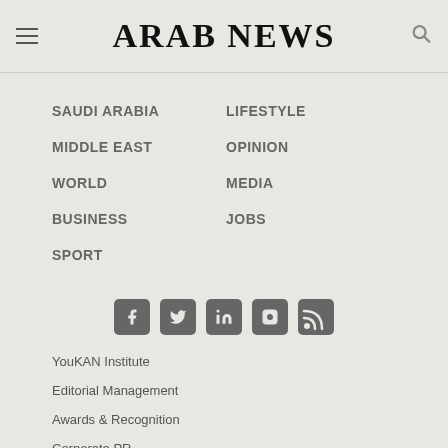ARAB NEWS
SAUDI ARABIA
LIFESTYLE
MIDDLE EAST
OPINION
WORLD
MEDIA
BUSINESS
JOBS
SPORT
[Figure (infographic): Social media icons: Facebook, Twitter, LinkedIn, Instagram, RSS]
YouKAN Institute
Editorial Management
Awards & Recognition
Corporate PR
Contact Us